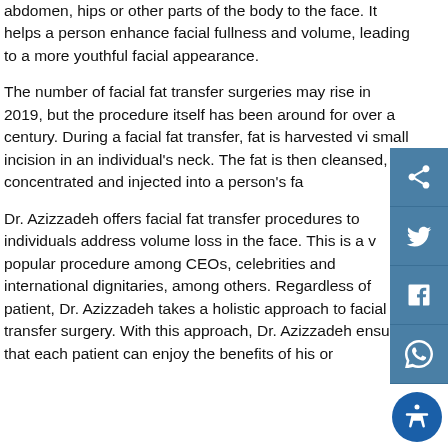abdomen, hips or other parts of the body to the face. It helps a person enhance facial fullness and volume, leading to a more youthful facial appearance.
The number of facial fat transfer surgeries may rise in 2019, but the procedure itself has been around for over a century. During a facial fat transfer, fat is harvested via small incision in an individual's neck. The fat is then cleansed, concentrated and injected into a person's fa...
Dr. Azizzadeh offers facial fat transfer procedures to individuals address volume loss in the face. This is a very popular procedure among CEOs, celebrities and international dignitaries, among others. Regardless of patient, Dr. Azizzadeh takes a holistic approach to facial fat transfer surgery. With this approach, Dr. Azizzadeh ensures that each patient can enjoy the benefits of his or...